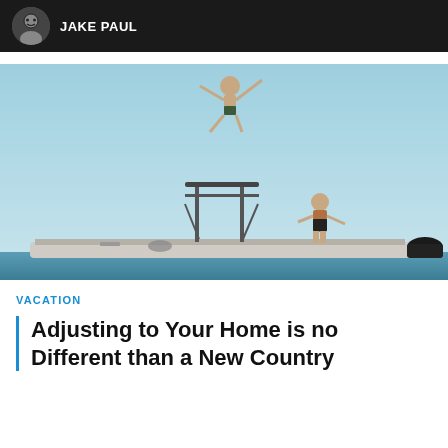JAKE PAUL
[Figure (photo): Two men on a motorboat on open water; one man is jumping high in the air above the boat's tower/T-top, arms and legs spread wide, while another man stands on the boat deck below watching.]
VACATION
Adjusting to Your Home is no Different than a New Country